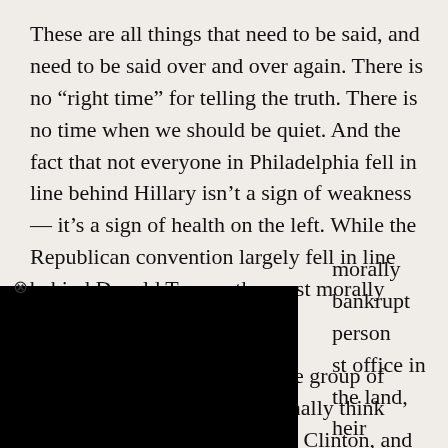These are all things that need to be said, and need to be said over and over again. There is no “right time” for telling the truth. There is no time when we should be quiet. And the fact that not everyone in Philadelphia fell in line behind Hillary isn’t a sign of weakness — it’s a sign of health on the left. While the Republican convention largely fell in line behind Donald Trump, the most morally bankrupt person [to seek] the highest office in the land, [Sanders delegates stood by] their ideals, and refused to [endorse her].
[Figure (other): Black rectangle obscuring part of the text (advertisement or image overlay with close button)]
It’s true that there is a hardcore group of Bernie-or-Busters who irrationally think Trump would be just as bad as Clinton, and who think that the political revolution ended with Sanders’ defeat. This is